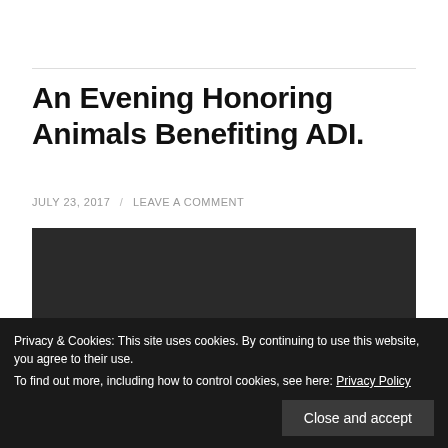An Evening Honoring Animals Benefiting ADI.
JULY 23, 2017 / LEAVE A COMMENT
[Figure (screenshot): Dark video player showing 'Video unavailable' message]
Privacy & Cookies: This site uses cookies. By continuing to use this website, you agree to their use.
To find out more, including how to control cookies, see here: Privacy Policy
Close and accept